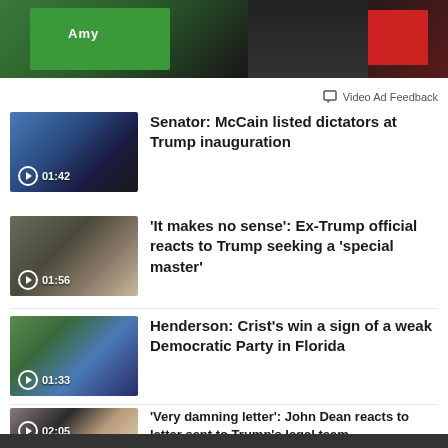[Figure (screenshot): Top banner video thumbnail showing green Amy Klobuchar campaign sign and person in background]
Video Ad Feedback
[Figure (screenshot): Video thumbnail: Senator Amy Klobuchar speaking. Duration 01:42]
Senator: McCain listed dictators at Trump inauguration
[Figure (screenshot): Video thumbnail: Ex-Trump official speaking. Duration 01:56]
'It makes no sense': Ex-Trump official reacts to Trump seeking a 'special master'
[Figure (screenshot): Video thumbnail: Crist campaign event. Duration 01:33]
Henderson: Crist's win a sign of a weak Democratic Party in Florida
[Figure (screenshot): Video thumbnail: John Dean and Trump. Duration 02:05]
'Very damning letter': John Dean reacts to letter sent to Trump's legal team
[Figure (screenshot): Video thumbnail: CNN Politics First Now Then Now chyron]
Tapper calls out lawmakers for claiming success on legislation they voted against